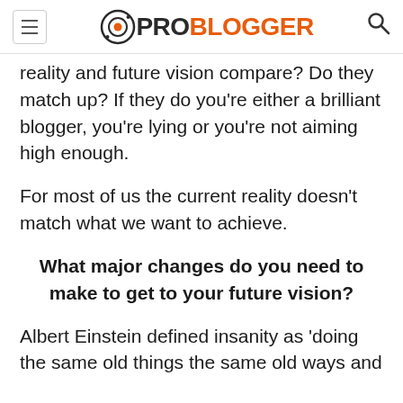PROBLOGGER
reality and future vision compare? Do they match up? If they do you're either a brilliant blogger, you're lying or you're not aiming high enough.
For most of us the current reality doesn't match what we want to achieve.
What major changes do you need to make to get to your future vision?
Albert Einstein defined insanity as 'doing the same old things the same old ways and